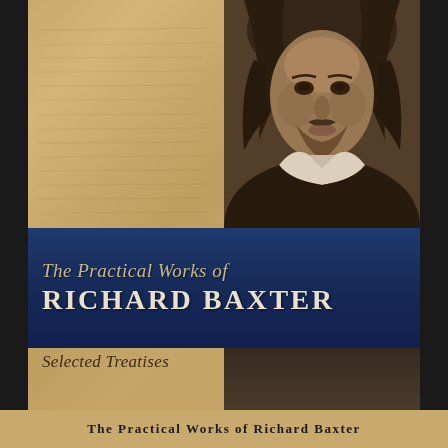[Figure (illustration): Book cover of 'The Practical Works of Richard Baxter: Selected Treatises'. The cover features a split design: the left half shows aged parchment/tan paper with faint text lines visible, and the right half shows a sepia portrait photograph of Richard Baxter, a 17th-century Puritan minister with long dark hair and white clerical collar. A dark navy blue banner spans the full width across the middle of the cover containing the title text. Below the banner on the tan left side reads 'Selected Treatises' in italic serif font. At the bottom of the page, the title text appears cut off.]
The Practical Works of RICHARD BAXTER Selected Treatises
The Practical Works of Richard Baxter